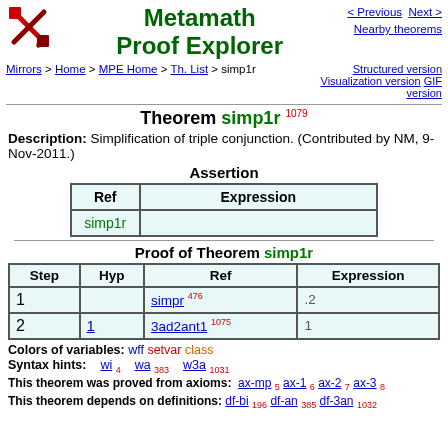Metamath Proof Explorer
Mirrors > Home > MPE Home > Th. List > simp1r | Structured version Visualization version GIF version
Theorem simp1r 1079
Description: Simplification of triple conjunction. (Contributed by NM, 9-Nov-2011.)
Assertion
| Ref | Expression |
| --- | --- |
| simp1r |  |
Proof of Theorem simp1r
| Step | Hyp | Ref | Expression |
| --- | --- | --- | --- |
| 1 |  | simpr 476 | .2 |
| 2 | 1 | 3ad2ant1 1075 | 1 |
Colors of variables: wff setvar class
Syntax hints: wi 4 wa 383 w3a 1031
This theorem was proved from axioms: ax-mp 5 ax-1 6 ax-2 7 ax-3 8
This theorem depends on definitions: df-bi 196 df-an 385 df-3an 1032